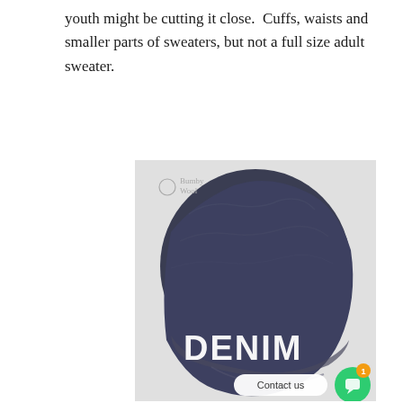youth might be cutting it close.  Cuffs, waists and smaller parts of sweaters, but not a full size adult sweater.
[Figure (photo): Photo of a dark navy/denim blue folded wool or knit fabric swatch with the word 'DENIM' in large white text overlaid at the bottom. A 'Bumby Wool' brand logo appears in the top left corner of the image. At the bottom right there is a 'Contact us' button and a green chat button with an orange notification badge showing '1'.]